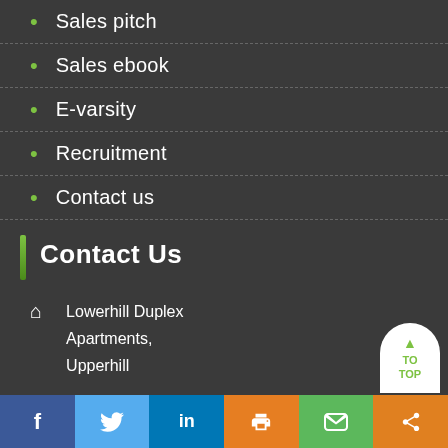Sales pitch
Sales ebook
E-varsity
Recruitment
Contact us
Contact Us
Lowerhill Duplex Apartments, Upperhill
f  Twitter  in  Print  Email  Share